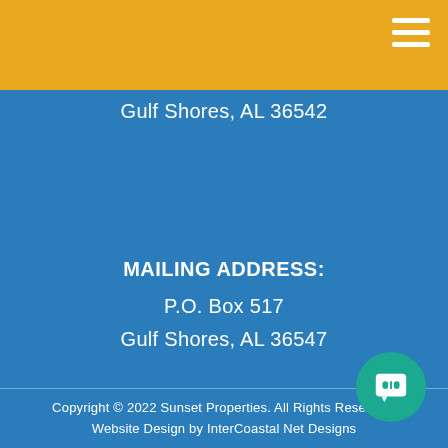Gulf Shores, AL 36542
MAILING ADDRESS:
P.O. Box 517
Gulf Shores, AL 36547
Copyright © 2022 Sunset Properties. All Rights Reserved.
Website Design by InterCoastal Net Designs